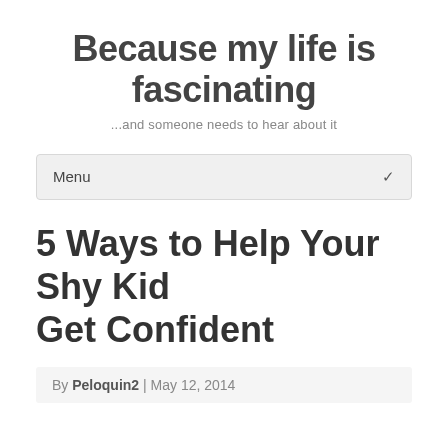Because my life is fascinating
...and someone needs to hear about it
Menu
5 Ways to Help Your Shy Kid Get Confident
By Peloquin2 | May 12, 2014